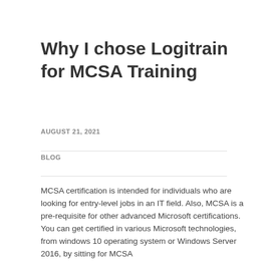Why I chose Logitrain for MCSA Training
AUGUST 21, 2021
BLOG
MCSA certification is intended for individuals who are looking for entry-level jobs in an IT field. Also, MCSA is a pre-requisite for other advanced Microsoft certifications. You can get certified in various Microsoft technologies, from windows 10 operating system or Windows Server 2016, by sitting for MCSA